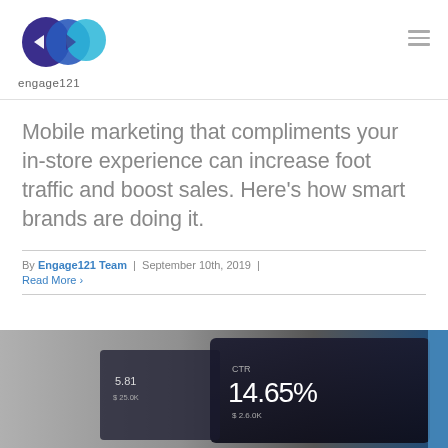[Figure (logo): Engage121 logo: three overlapping circles in dark blue, purple, and cyan, with text 'engage121' below]
Mobile marketing that compliments your in-store experience can increase foot traffic and boost sales. Here's how smart brands are doing it.
By Engage121 Team | September 10th, 2019 |
Read More
[Figure (photo): Close-up photo of a dark screen showing financial data including '14.65%' in large text]